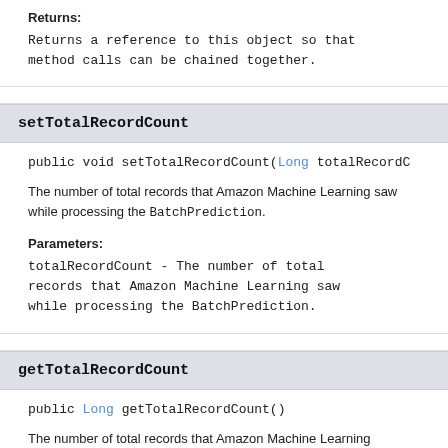Returns:
Returns a reference to this object so that method calls can be chained together.
setTotalRecordCount
public void setTotalRecordCount(Long totalRecordC…
The number of total records that Amazon Machine Learning saw while processing the BatchPrediction.
Parameters:
totalRecordCount - The number of total records that Amazon Machine Learning saw while processing the BatchPrediction.
getTotalRecordCount
public Long getTotalRecordCount()
The number of total records that Amazon Machine Learning